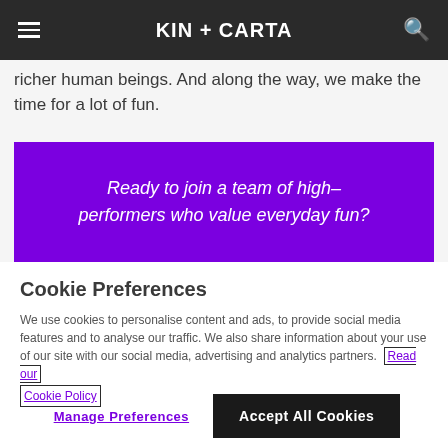KIN + CARTA
richer human beings. And along the way, we make the time for a lot of fun.
Ready to join a team of high-performers who value everyday fun?
Cookie Preferences
We use cookies to personalise content and ads, to provide social media features and to analyse our traffic. We also share information about your use of our site with our social media, advertising and analytics partners. Read our Cookie Policy
Manage Preferences
Accept All Cookies